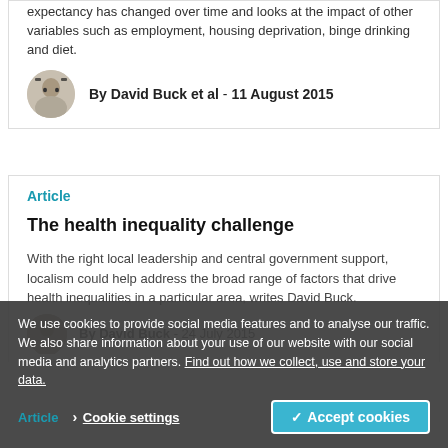expectancy has changed over time and looks at the impact of other variables such as employment, housing deprivation, binge drinking and diet.
By David Buck et al - 11 August 2015
Article
The health inequality challenge
With the right local leadership and central government support, localism could help address the broad range of factors that drive health inequalities in a particular area, writes David Buck.
By David Buck - 24 July 2015
We use cookies to provide social media features and to analyse our traffic. We also share information about your use of our website with our social media and analytics partners. Find out how we collect, use and store your data.
Article   > Cookie settings   ✓ Accept cookies